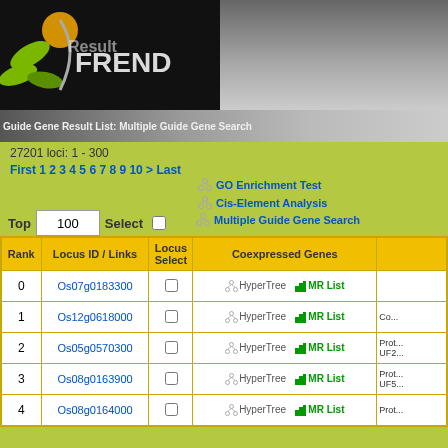[Figure (screenshot): FREND bioinformatics tool header with logo (plant/leaf graphic on black background) and 'Result' overlay text]
Guide Gene Result List: Multiple Guide Gene Search
27201 loci: 1 - 300
First 1 2 3 4 5 6 7 8 9 10 > Last
GO Enrichment Test
Cis-Element Analysis
Multiple Guide Gene Search
Top  100  Select
| Rank | Locus ID / Links | Locus Select | Coexpressed Genes |  |
| --- | --- | --- | --- | --- |
| 0 | Os07g0183300 |  | HyperTree  MR List |  |
| 1 | Os12g0618000 |  | HyperTree  MR List | Co... |
| 2 | Os05g0570300 |  | HyperTree  MR List | Prot... UF2... |
| 3 | Os08g0163900 |  | HyperTree  MR List | Prot... UF5... |
| 4 | Os08g0164000 |  | HyperTree  MR List | Prot... |